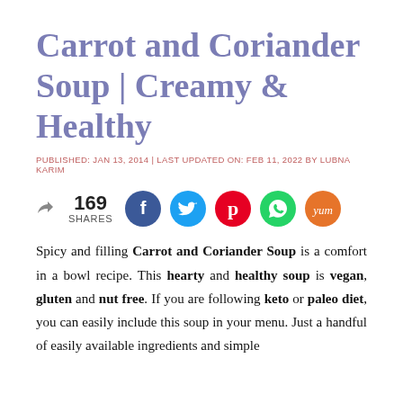Carrot and Coriander Soup | Creamy & Healthy
PUBLISHED: JAN 13, 2014 | LAST UPDATED ON: FEB 11, 2022 BY LUBNA KARIM
[Figure (infographic): Share button with 169 SHARES count and five social media circular buttons: Facebook (dark blue), Twitter (light blue), Pinterest (red), WhatsApp (green), Yummly (orange)]
Spicy and filling Carrot and Coriander Soup is a comfort in a bowl recipe. This hearty and healthy soup is vegan, gluten and nut free. If you are following keto or paleo diet, you can easily include this soup in your menu. Just a handful of easily available ingredients and simple